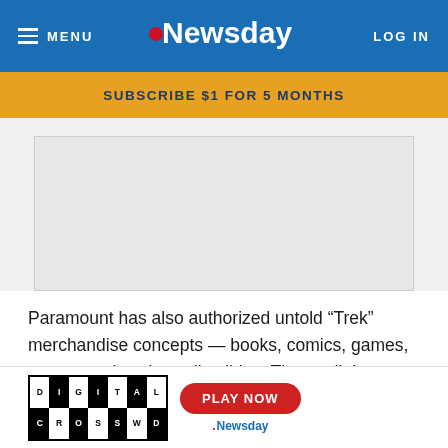MENU | Newsday | LOG IN
SUBSCRIBE $1 FOR 5 MONTHS
[Figure (other): Advertisement placeholder image (gray box)]
Paramount has also authorized untold “Trek” merchandise concepts — books, comics, games, costumes, jewelry, collectibles. The studio’s shop.StarTrek.com sells Enterprise bottle openers, Uhura teddy bears, captain’s chair pool floats,
[Figure (other): Digital Crossword banner ad with Play Now button and Newsday logo]